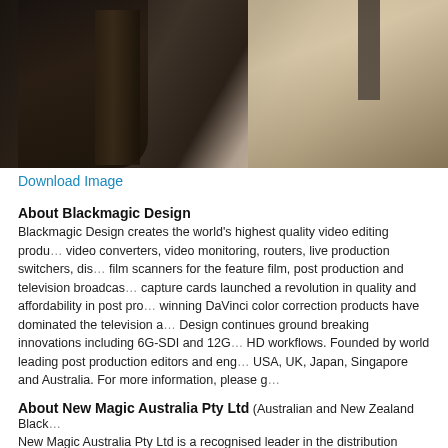[Figure (photo): Dark cinematic photo showing two figures — one in dark/black clothing on the left with feathery or fur texture, and one in light shirt and dark tie on the right, against a dark background.]
Download Image
About Blackmagic Design
Blackmagic Design creates the world's highest quality video editing produ... video converters, video monitoring, routers, live production switchers, dis... film scanners for the feature film, post production and television broadcas... capture cards launched a revolution in quality and affordability in post pro... winning DaVinci color correction products have dominated the television a... Design continues ground breaking innovations including 6G-SDI and 12G... HD workflows. Founded by world leading post production editors and eng... USA, UK, Japan, Singapore and Australia. For more information, please g...
About New Magic Australia Pty Ltd
(Australian and New Zealand Black... New Magic Australia Pty Ltd is a recognised leader in the distribution and...